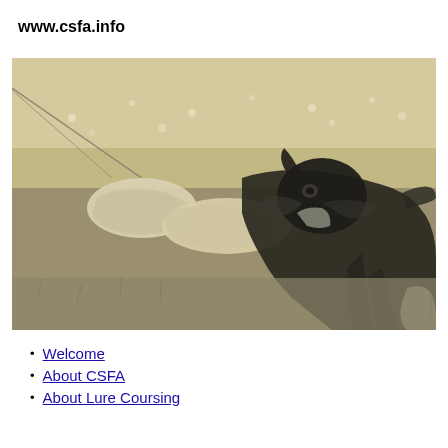www.csfa.info
[Figure (photo): Sepia-toned black and white photograph of a dog chasing or catching a lure (white plastic bag/material) on a grassy field during a lure coursing event. A wire/string is visible extending from the lure. The dog appears to be a brindle sighthound type.]
Welcome
About CSFA
About Lure Coursing